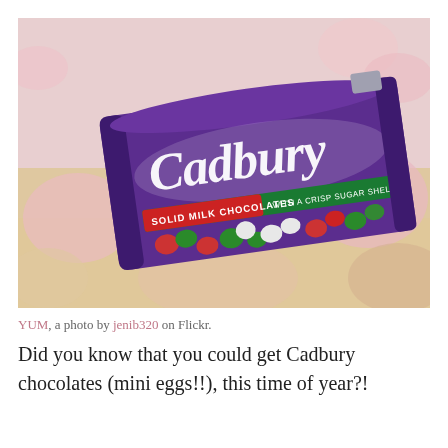[Figure (photo): A bag of Cadbury solid milk chocolates with a crisp sugar shell, showing the purple Cadbury branded packaging with colorful mini egg-style chocolates visible. The bag sits on a floral pink and yellow fabric background.]
YUM, a photo by jenib320 on Flickr.
Did you know that you could get Cadbury chocolates (mini eggs!!), this time of year?!